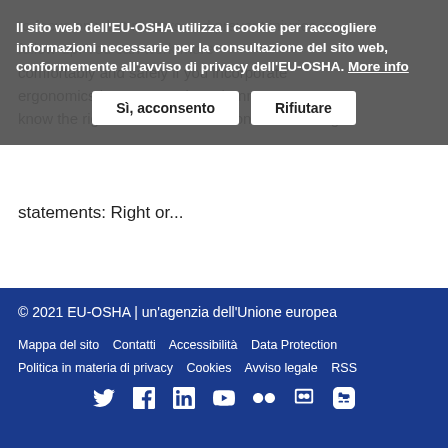comfortably and safely if you incorporate ergonomics into your work environment. Do you know the right answers? Decide on the following statements: Right or…
Il sito web dell'EU-OSHA utilizza i cookie per raccogliere informazioni necessarie per la consultazione del sito web, conformemente all'avviso di privacy dell'EU-OSHA. More info
Sì, acconsento | Rifiutare
statements: Right or…
Vedi altro →
© 2021 EU-OSHA | un'agenzia dell'Unione europea
Mappa del sito   Contatti   Accessibilità   Data Protection
Politica in materia di privacy   Cookies   Avviso legale   RSS